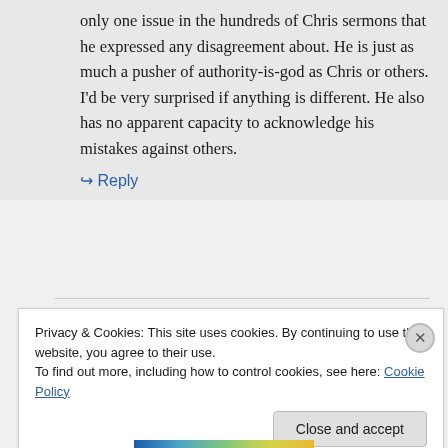only one issue in the hundreds of Chris sermons that he expressed any disagreement about. He is just as much a pusher of authority-is-god as Chris or others. I'd be very surprised if anything is different. He also has no apparent capacity to acknowledge his mistakes against others.
↳ Reply
Privacy & Cookies: This site uses cookies. By continuing to use this website, you agree to their use. To find out more, including how to control cookies, see here: Cookie Policy
Close and accept